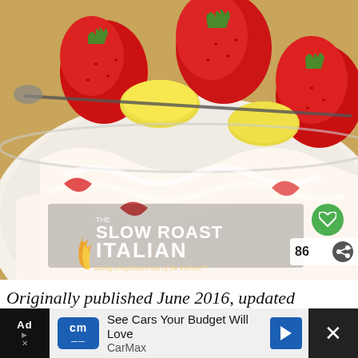[Figure (photo): A glass bowl filled with strawberries and cream or yogurt, with a spoon, sitting on a wooden surface. The Slow Roast Italian logo is overlaid in the lower portion of the image.]
86
WHAT'S NEXT → Summer Berry Cheesecake...
Originally published June 2016, updated
See Cars Your Budget Will Love CarMax